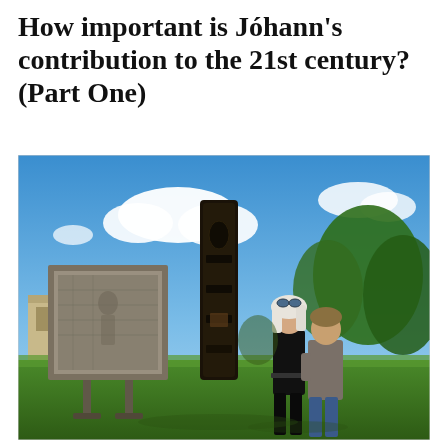How important is Jóhann's contribution to the 21st century? (Part One)
[Figure (photo): Outdoor photograph showing two people — an older woman with long white hair wearing a black outfit with goggles on her head, and a younger person in grey — standing on a grass lawn beside a tall dark carved wooden totem-pole-like sculpture and a large framed relief artwork on a stand, with blue sky, white clouds, and green trees in the background.]